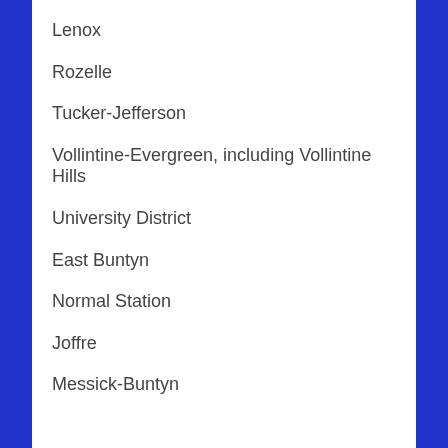Lenox
Rozelle
Tucker-Jefferson
Vollintine-Evergreen, including Vollintine Hills
University District
East Buntyn
Normal Station
Joffre
Messick-Buntyn